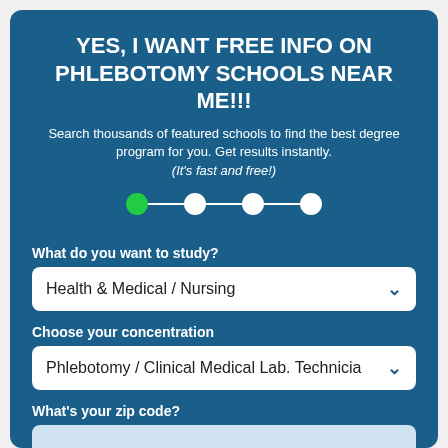YES, I WANT FREE INFO ON PHLEBOTOMY SCHOOLS NEAR ME!!!
Search thousands of featured schools to find the best degree program for you. Get results instantly. (It's fast and free!)
[Figure (infographic): Progress stepper with 4 dots connected by lines; first dot is green (active), remaining three are white]
What do you want to study?
Health & Medical / Nursing
Choose your concentration
Phlebotomy / Clinical Medical Lab. Technicia
What's your zip code?